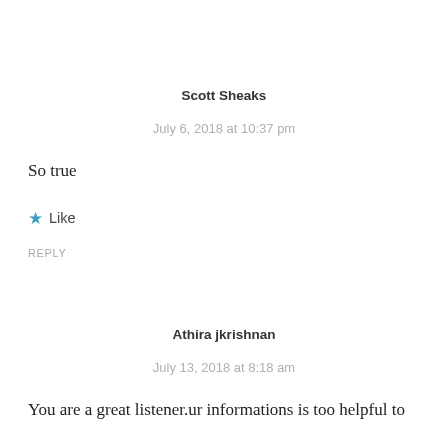Scott Sheaks
July 6, 2018 at 10:37 pm
So true
★ Like
REPLY
Athira jkrishnan
July 13, 2018 at 8:18 am
You are a great listener.ur informations is too helpful to